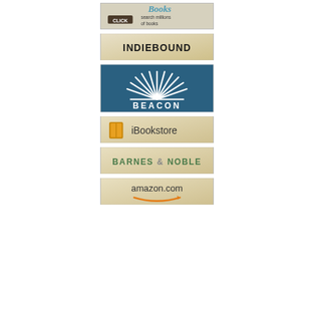[Figure (logo): AbeBooks logo banner: 'Books - search millions of books' with CLICK button]
[Figure (logo): IndieBound logo button]
[Figure (logo): Beacon Press logo on teal/dark blue background with radiating lines]
[Figure (logo): iBookstore logo button with book icon]
[Figure (logo): Barnes & Noble logo button]
[Figure (logo): Amazon.com logo button with smile arrow]